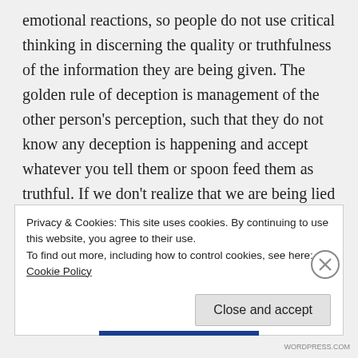emotional reactions, so people do not use critical thinking in discerning the quality or truthfulness of the information they are being given. The golden rule of deception is management of the other person's perception, such that they do not know any deception is happening and accept whatever you tell them or spoon feed them as truthful. If we don't realize that we are being lied to we are at a disadvantage. This blocks out our higher discernment in determining the quality of people
Privacy & Cookies: This site uses cookies. By continuing to use this website, you agree to their use.
To find out more, including how to control cookies, see here: Cookie Policy
Close and accept